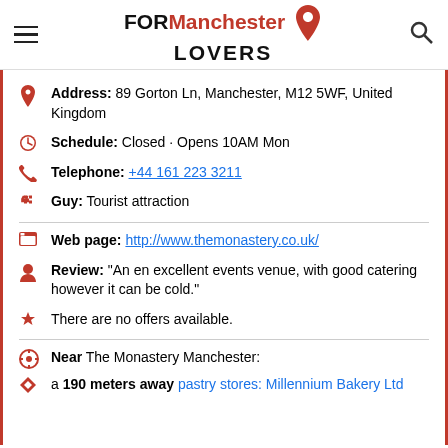FOR Manchester LOVERS
Address: 89 Gorton Ln, Manchester, M12 5WF, United Kingdom
Schedule: Closed · Opens 10AM Mon
Telephone: +44 161 223 3211
Guy: Tourist attraction
Web page: http://www.themonastery.co.uk/
Review: "An en excellent events venue, with good catering however it can be cold."
There are no offers available.
Near The Monastery Manchester:
a 190 meters away pastry stores: Millennium Bakery Ltd